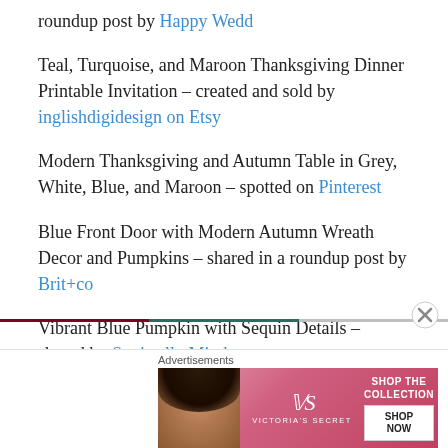roundup post by Happy Wedd
Teal, Turquoise, and Maroon Thanksgiving Dinner Printable Invitation – created and sold by inglishdigidesign on Etsy
Modern Thanksgiving and Autumn Table in Grey, White, Blue, and Maroon – spotted on Pinterest
Blue Front Door with Modern Autumn Wreath Decor and Pumpkins – shared in a roundup post by Brit+co
Vibrant Blue Pumpkin with Sequin Details – shared by Squirrelly Minds
[Figure (screenshot): Victoria's Secret advertisement banner with a woman and 'Shop the Collection / Shop Now' call to action]